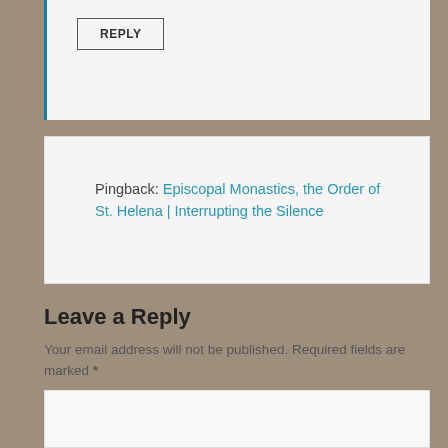REPLY
Pingback: Episcopal Monastics, the Order of St. Helena | Interrupting the Silence
Leave a Reply
Your email address will not be published. Required fields are marked *